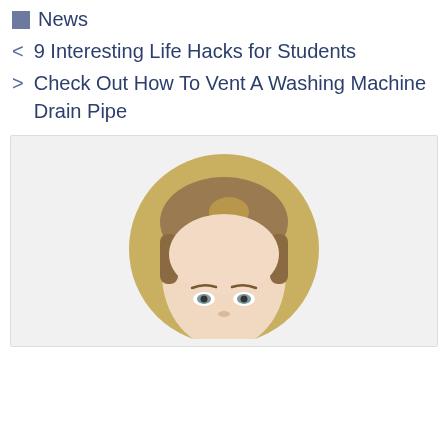News
< 9 Interesting Life Hacks for Students
> Check Out How To Vent A Washing Machine Drain Pipe
[Figure (photo): Circular cropped portrait photo of a young woman with straight brown/blonde hair, light skin, and blue-grey eyes, looking straight ahead. Background is beige/tan. The photo is set in a light grey rectangular box.]